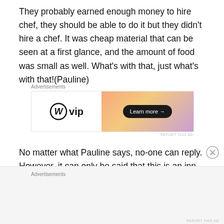They probably earned enough money to hire chef, they should be able to do it but they didn't hire a chef. It was cheap material that can be seen at a first glance, and the amount of food was small as well. What's with that, just what's with that!⁠(Pauline)
[Figure (other): WordPress VIP advertisement banner with gradient orange/purple background and 'Learn more →' button]
No matter what Pauline says, no-one can reply. However, it can only be said that this is an inn with such management policy.
[Figure (other): Bottom advertisements placeholder bar with gray background]